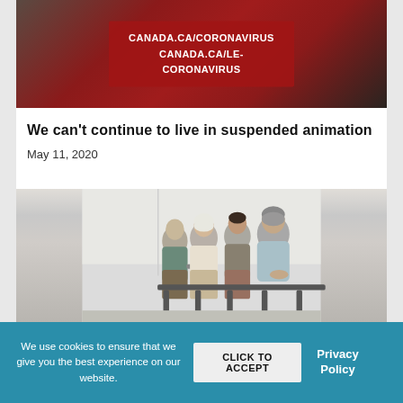[Figure (photo): Photo of a podium with a red sign showing CANADA.CA/CORONAVIRUS and CANADA.CA/LE-CORONAVIRUS]
We can’t continue to live in suspended animation
May 11, 2020
[Figure (photo): Photo of several people of different ages sitting in chairs, appearing to be in a waiting room]
We use cookies to ensure that we give you the best experience on our website.
CLICK TO ACCEPT
Privacy Policy